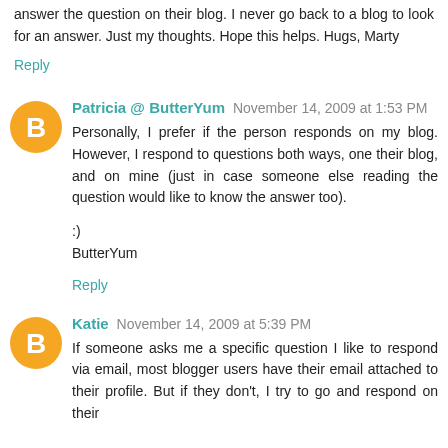answer the question on their blog. I never go back to a blog to look for an answer. Just my thoughts. Hope this helps. Hugs, Marty
Reply
Patricia @ ButterYum  November 14, 2009 at 1:53 PM
Personally, I prefer if the person responds on my blog. However, I respond to questions both ways, one their blog, and on mine (just in case someone else reading the question would like to know the answer too).

:)
ButterYum
Reply
Katie  November 14, 2009 at 5:39 PM
If someone asks me a specific question I like to respond via email, most blogger users have their email attached to their profile. But if they don't, I try to go and respond on their